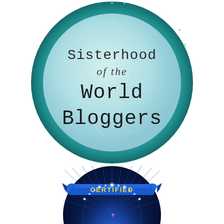[Figure (illustration): A circular badge with a teal/turquoise textured border and a light blue marble-like interior. Text reads 'Sisterhood of the World Bloggers' in mixed serif and italic script fonts.]
[Figure (illustration): A partially visible circular dark blue badge with radiant light rays emanating from center. A ribbon banner reads 'CERTIFIED' in gold/yellow letters. Glowing white arc of dots along inner circle. A star/snowflake symbol at the bottom center.]